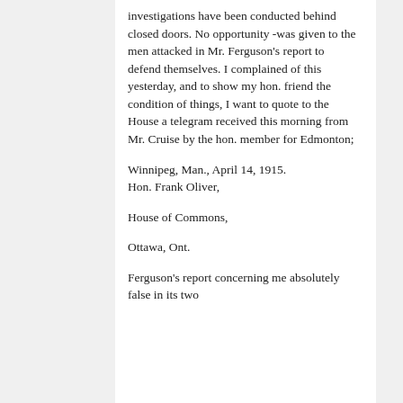investigations have been conducted behind closed doors. No opportunity -was given to the men attacked in Mr. Ferguson's report to defend themselves. I complained of this yesterday, and to show my hon. friend the condition of things, I want to quote to the House a telegram received this morning from Mr. Cruise by the hon. member for Edmonton;
Winnipeg, Man., April 14, 1915. Hon. Frank Oliver,
House of Commons,
Ottawa, Ont.
Ferguson's report concerning me absolutely false in its two